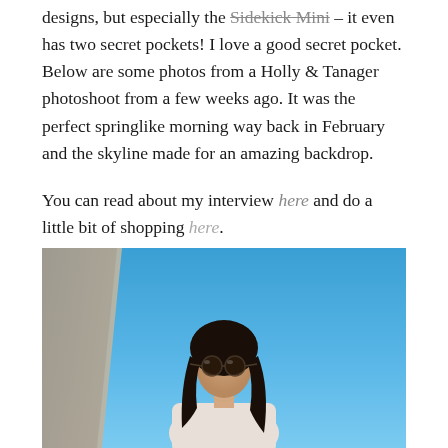designs, but especially the Sidekick Mini – it even has two secret pockets! I love a good secret pocket. Below are some photos from a Holly & Tanager photoshoot from a few weeks ago. It was the perfect springlike morning way back in February and the skyline made for an amazing backdrop.
You can read about my interview here and do a little bit of shopping here.
[Figure (photo): A woman with long dark hair and round sunglasses standing outdoors against a bright blue sky, wearing a light-colored top. A stone or concrete structure is visible on the left.]